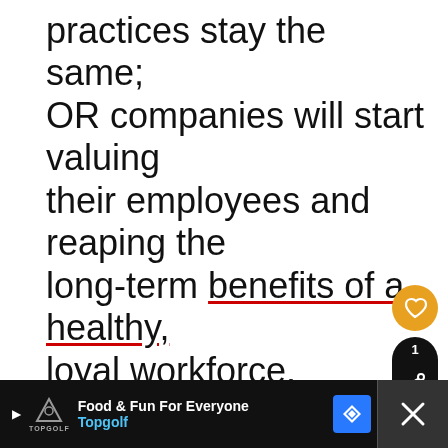practices stay the same; OR companies will start valuing their employees and reaping the long-term benefits of a healthy, loyal workforce.
[Figure (screenshot): UI overlay buttons: a heart/like button (orange circle), a share count badge showing '1', and a share button (dark circle with share icon)]
[Figure (screenshot): What's Next promotional widget: dark rounded rectangle with thumbnail image and text 'WHAT'S NEXT → 9 Things To Do When Yo...']
[Figure (screenshot): Advertisement banner for Topgolf: 'Food & Fun For Everyone Topgolf' on dark background with navigation icon and close button]